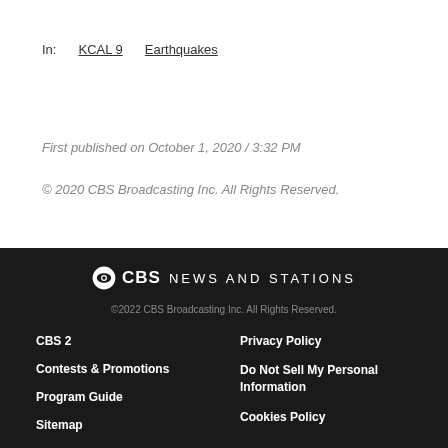In:   KCAL 9   Earthquakes
First published on October 1, 2020 / 3:32 PM
© 2020 CBS Broadcasting Inc. All Rights Reserved.
CBS NEWS AND STATIONS
©2022 CBS Broadcasting Inc. All Rights Reserved.
CBS 2   Privacy Policy
Contests & Promotions   Do Not Sell My Personal Information
Program Guide   Cookies Policy
Sitemap